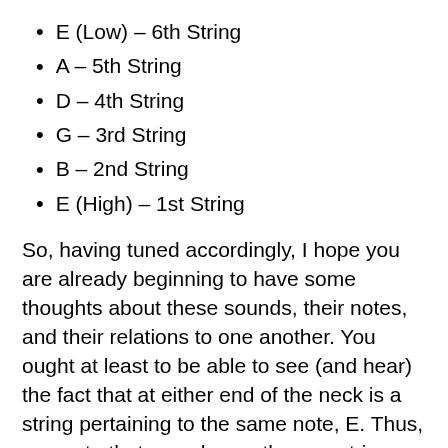E (Low) – 6th String
A – 5th String
D – 4th String
G – 3rd String
B – 2nd String
E (High) – 1st String
So, having tuned accordingly, I hope you are already beginning to have some thoughts about these sounds, their notes, and their relations to one another. You ought at least to be able to see (and hear) the fact that at either end of the neck is a string pertaining to the same note, E. Thus, any note that you play on the one string can be